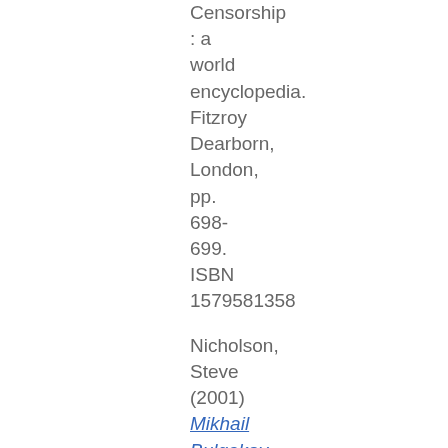Censorship : a world encyclopedia. Fitzroy Dearborn, London, pp. 698-699. ISBN 1579581358
Nicholson, Steve (2001) Mikhail Bulgakov. In: Censorship : a world.